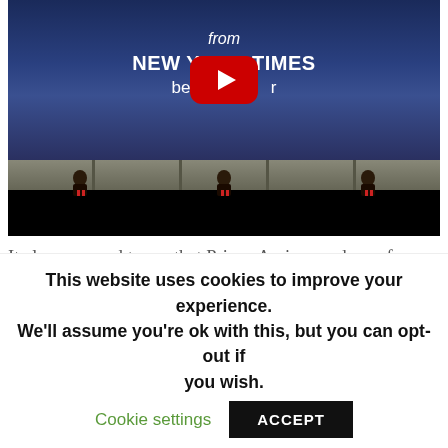[Figure (screenshot): YouTube video thumbnail showing text 'from NEW YORK TIMES bestselling author' over a dark blue/night sky background with castle wall silhouette, with a YouTube play button overlay in the center.]
It also occurred to me that Prince Amir, grandson of Mehmet the Conqueror. In order to keep her far away from Sebastiano, Bianca is sent to live in
This website uses cookies to improve your experience. We'll assume you're ok with this, but you can opt-out if you wish.  Cookie settings  ACCEPT